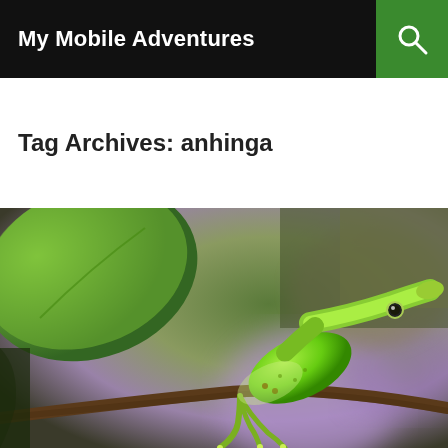My Mobile Adventures
Tag Archives: anhinga
[Figure (photo): Close-up photograph of a bright green anole lizard perched on a branch among green leaves and purple flowers, with a blurred natural background.]